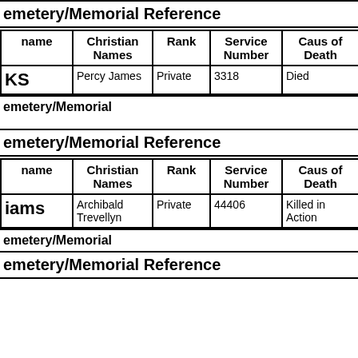emetery/Memorial Reference
| name | Christian Names | Rank | Service Number | Cause of Death |
| --- | --- | --- | --- | --- |
| KS | Percy James | Private | 3318 | Died |
emetery/Memorial
emetery/Memorial Reference
| name | Christian Names | Rank | Service Number | Cause of Death |
| --- | --- | --- | --- | --- |
| iams | Archibald Trevellyn | Private | 44406 | Killed in Action |
emetery/Memorial
emetery/Memorial Reference